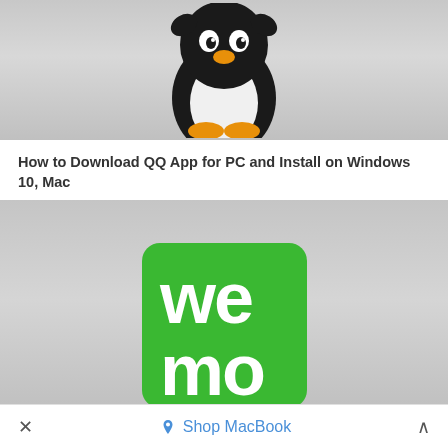[Figure (screenshot): QQ App penguin logo on grey gradient background, cropped at top]
How to Download QQ App for PC and Install on Windows 10, Mac
[Figure (logo): Wemo logo — green square with white 'wemo' text in two lines — on grey gradient background]
Wemo for PC Windows 10 and Macbook -Free Download New Edition
× Shop MacBook ^